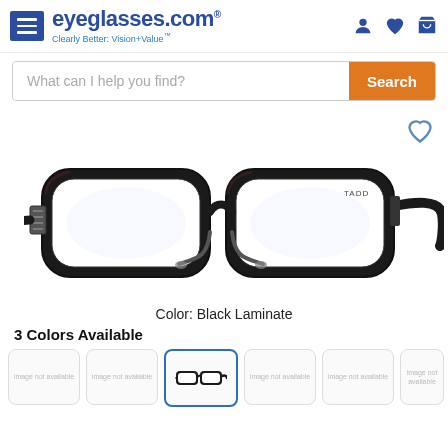eyeglasses.com - Clearly Better: Vision+Value
What can I help you find?
[Figure (photo): Black Laminate eyeglasses frames shown in side-angle view against white background]
Color: Black Laminate
3 Colors Available
[Figure (photo): Thumbnail color swatches row showing eyeglass frame options; third thumbnail (black frames) is selected with blue border]